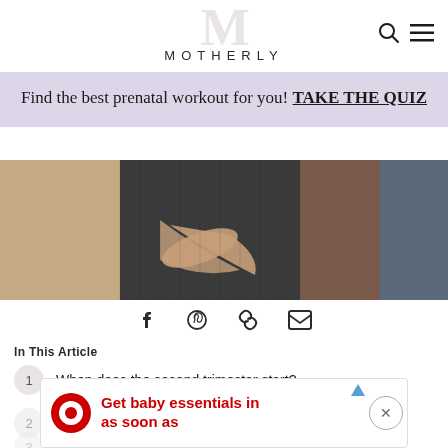MOTHERLY
Find the best prenatal workout for you! TAKE THE QUIZ
[Figure (photo): Close-up photo of hands touching a pregnant belly, wearing casual clothing]
[Figure (infographic): Social sharing icons: Facebook, Pinterest, link, email]
In This Article
1  When does the second trimester start?
2
3
[Figure (screenshot): Target advertisement: Get baby essentials in as soon as...]